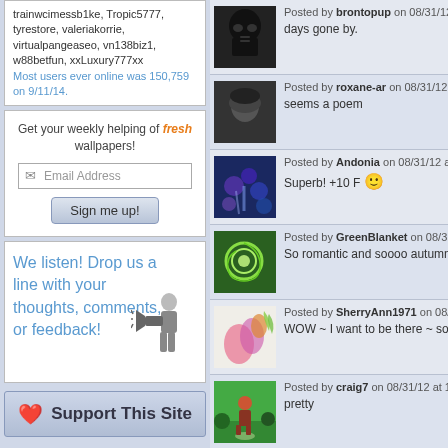trainwcimessb1ke, Tropic5777, tyrestore, valeriakorrie, virtualpangeaseo, vn138biz1, w88betfun, xxLuxury777xx Most users ever online was 150,759 on 9/11/14.
Get your weekly helping of fresh wallpapers! Email Address Sign me up!
We listen! Drop us a line with your thoughts, comments, or feedback!
Support This Site
Posted by brontopup on 08/31/12 at 05:26
days gone by.
Posted by roxane-ar on 08/31/12 at 04:22
seems a poem
Posted by Andonia on 08/31/12 at 03:04 P
Superb! +10 F 🙂
Posted by GreenBlanket on 08/31/12 at 01
So romantic and soooo autumn picture
Posted by SherryAnn1971 on 08/31/12 at
WOW ~ I want to be there ~ so beautif
Posted by craig7 on 08/31/12 at 12:47 PM
pretty